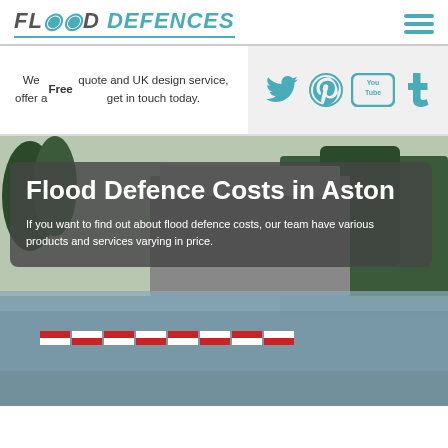[Figure (logo): Flood Defences logo with teal water drop icons and italic text]
We offer a Free quote and UK design service, get in touch today.
[Figure (infographic): Social media icons: Twitter, Pinterest, YouTube, Tumblr in teal on grey background]
[Figure (photo): Flooded road with red and white barriers, trees and building in background, dark overlay with title text]
Flood Defence Costs in Aston
If you want to find out about flood defence costs, our team have various products and services varying in price.